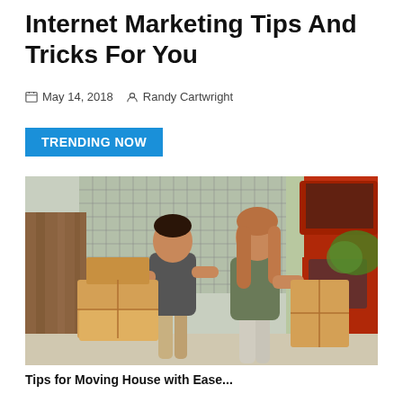Internet Marketing Tips And Tricks For You
May 14, 2018  Randy Cartwright
TRENDING NOW
[Figure (photo): A man and a woman loading cardboard boxes from a red car trunk outside a building with wire mesh fence. Both are smiling and handling moving boxes.]
Tips for Moving House with Ease...